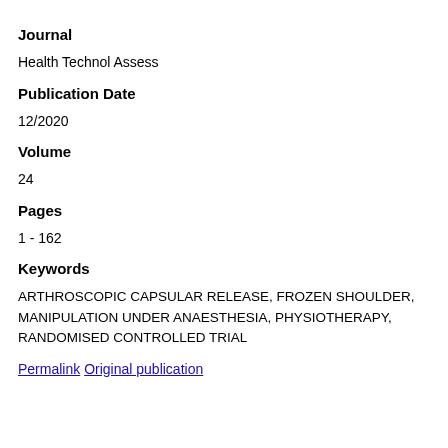Journal
Health Technol Assess
Publication Date
12/2020
Volume
24
Pages
1 - 162
Keywords
ARTHROSCOPIC CAPSULAR RELEASE, FROZEN SHOULDER, MANIPULATION UNDER ANAESTHESIA, PHYSIOTHERAPY, RANDOMISED CONTROLLED TRIAL
Permalink Original publication